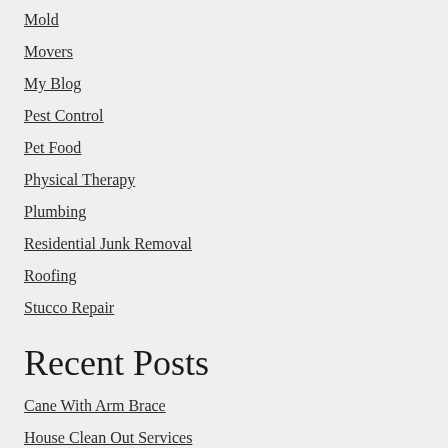Mold
Movers
My Blog
Pest Control
Pet Food
Physical Therapy
Plumbing
Residential Junk Removal
Roofing
Stucco Repair
Recent Posts
Cane With Arm Brace
House Clean Out Services
Hot Tub Repair Tips
Mold Remediation Services
Natural Alternatives to Pest Control